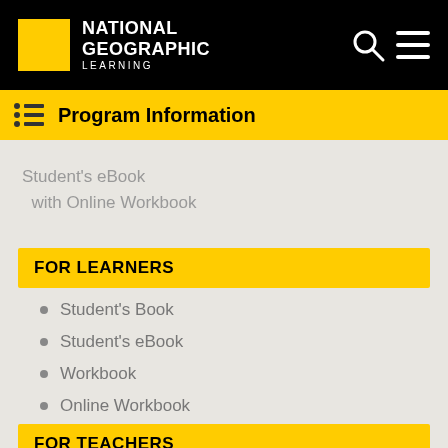National Geographic Learning
Program Information
Student's eBook with Online Workbook
FOR LEARNERS
Student's Book
Student's eBook
Workbook
Online Workbook
FOR TEACHERS